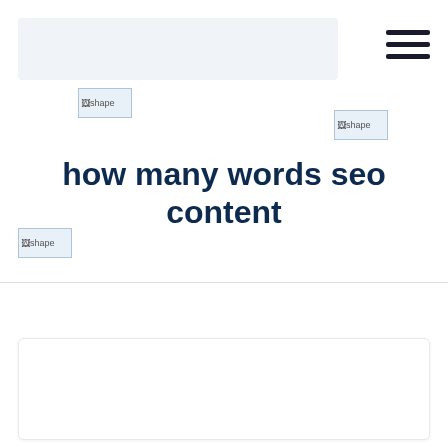[Figure (illustration): Broken image placeholder labeled 'shape' top-left area]
[Figure (illustration): Broken image placeholder labeled 'shape' top-right area]
how many words seo content
[Figure (illustration): Broken image placeholder labeled 'shape' left side]
admin   12月 09, 2021